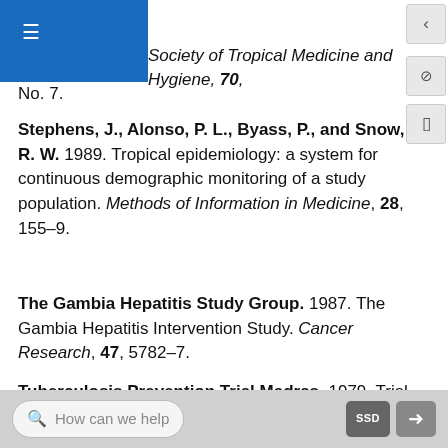Society of Tropical Medicine and Hygiene, 70, [No. 7].
Stephens, J., Alonso, P. L., Byass, P., and Snow, R. W. 1989. Tropical epidemiology: a system for continuous demographic monitoring of a study population. Methods of Information in Medicine, 28, 155–9.
The Gambia Hepatitis Study Group. 1987. The Gambia Hepatitis Intervention Study. Cancer Research, 47, 5782–7.
Tuberculosis Prevention Trial Madras. 1979. Trial of BCG vaccines in south India for tubercu- losis prevention. Indian Journal of Medical Research, 70, 349–63.
How can we help